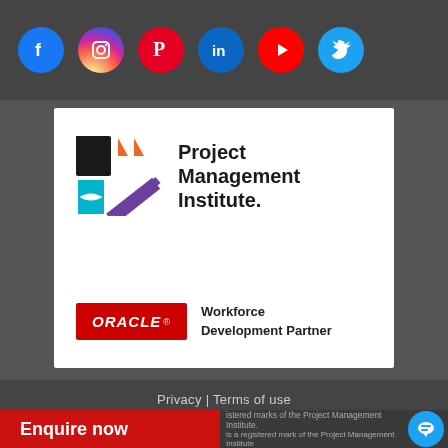[Figure (logo): Social media icons bar: Facebook, Instagram, Pinterest, LinkedIn, YouTube, Twitter circular icons on dark background]
[Figure (logo): Project Management Institute (PMI) logo with colored geometric mark (orange, cyan, purple P and M shapes) and text 'Project Management Institute.' plus Oracle Workforce Development Partner badge]
Privacy | Terms of use
istered marks of the Project Management Institute.
is a registered mark of the Project Management Institute
[Figure (other): Enquire now red button and chat bubble icon]